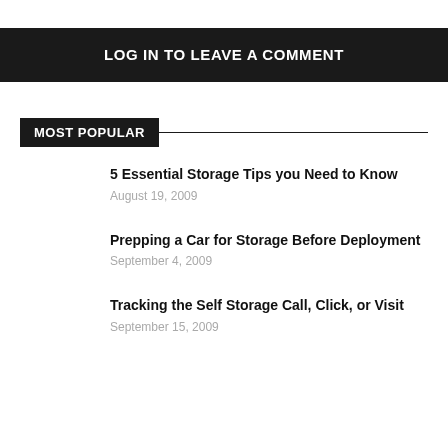LOG IN TO LEAVE A COMMENT
MOST POPULAR
5 Essential Storage Tips you Need to Know
August 19, 2009
Prepping a Car for Storage Before Deployment
September 4, 2009
Tracking the Self Storage Call, Click, or Visit
September 15, 2009